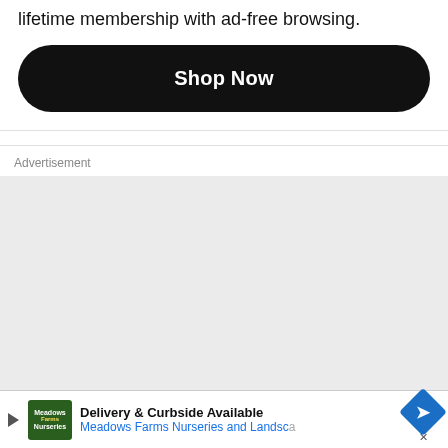lifetime membership with ad-free browsing.
[Figure (other): Black rounded rectangle button with white bold text 'Shop Now']
Advertisement
[Figure (other): Light gray empty advertisement placeholder box]
[Figure (other): Bottom advertisement banner: Meadows Farms Nurseries and Landscape - Delivery & Curbside Available, with green logo, blue navigation arrow diamond icon, and close X button]